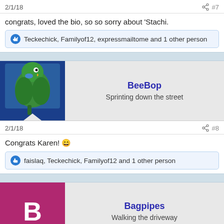2/1/18 #7
congrats, loved the bio, so so sorry about 'Stachi.
Teckechick, Familyof12, expressmailtome and 1 other person
[Figure (other): BeeBop user avatar with parrot photo on blue background]
BeeBop
Sprinting down the street
2/1/18 #8
Congrats Karen! 😄
faislaq, Teckechick, Familyof12 and 1 other person
[Figure (other): Bagpipes user avatar with letter B on pink/magenta background]
Bagpipes
Walking the driveway